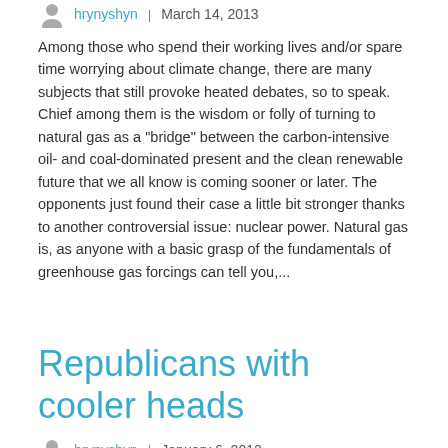hrynyshyn | March 14, 2013
Among those who spend their working lives and/or spare time worrying about climate change, there are many subjects that still provoke heated debates, so to speak. Chief among them is the wisdom or folly of turning to natural gas as a "bridge" between the carbon-intensive oil- and coal-dominated present and the clean renewable future that we all know is coming sooner or later. The opponents just found their case a little bit stronger thanks to another controversial issue: nuclear power. Natural gas is, as anyone with a basic grasp of the fundamentals of greenhouse gas forcings can tell you,...
Republicans with cooler heads
hrynyshyn | January 6, 2012
Barring a miraculous revival of the fortunes of Jon Huntsman, Republicans this year will, for the first time, elect a presidential nominee who does not believe that humans are responsible for global warming. How did things get this bad? The Climate Desk team found a few of the last Republicans among the party's leadership who break with this new orthodoxy and spliced their